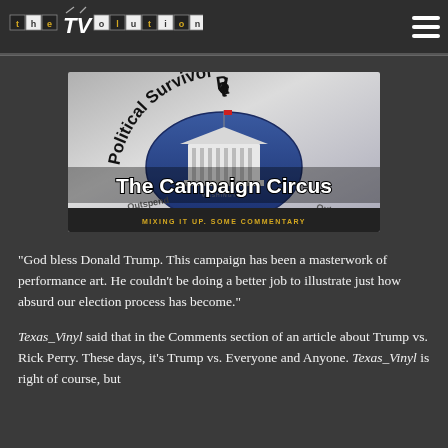theTV olution [logo] [hamburger menu]
[Figure (illustration): Political Survivor banner image with oval blue badge containing a white house building, arched 'Political Survivor' text, words 'Outspend', 'Outraise', 'Outrage' around oval, and bottom bar reading 'MIXING IT UP. SOME COMMENTARY'. Title overlay reads 'The Campaign Circus'.]
The Campaign Circus
“God bless Donald Trump. This campaign has been a masterwork of performance art. He couldn’t be doing a better job to illustrate just how absurd our election process has become.”
Texas_Vinyl said that in the Comments section of an article about Trump vs. Rick Perry. These days, it’s Trump vs. Everyone and Anyone. Texas_Vinyl is right of course, but